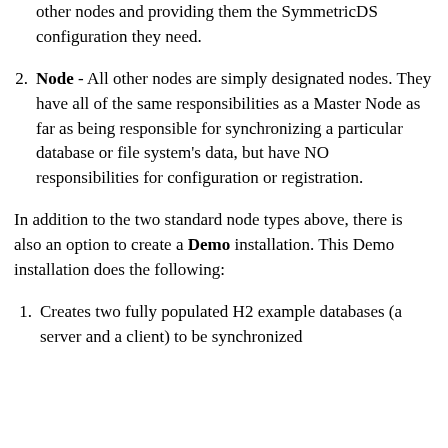other nodes and providing them the SymmetricDS configuration they need.
Node - All other nodes are simply designated nodes. They have all of the same responsibilities as a Master Node as far as being responsible for synchronizing a particular database or file system's data, but have NO responsibilities for configuration or registration.
In addition to the two standard node types above, there is also an option to create a Demo installation. This Demo installation does the following:
Creates two fully populated H2 example databases (a server and a client) to be synchronized